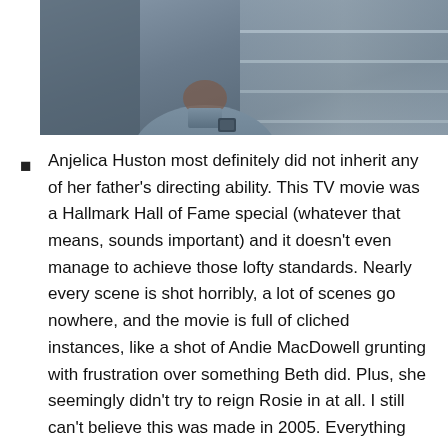[Figure (photo): A person wearing a blue/grey short-sleeve shirt standing in what appears to be an indoor setting with shelving or structures visible in the background.]
Anjelica Huston most definitely did not inherit any of her father's directing ability. This TV movie was a Hallmark Hall of Fame special (whatever that means, sounds important) and it doesn't even manage to achieve those lofty standards. Nearly every scene is shot horribly, a lot of scenes go nowhere, and the movie is full of cliched instances, like a shot of Andie MacDowell grunting with frustration over something Beth did. Plus, she seemingly didn't try to reign Rosie in at all. I still can't believe this was made in 2005. Everything about it seems like it was made in 1995 at